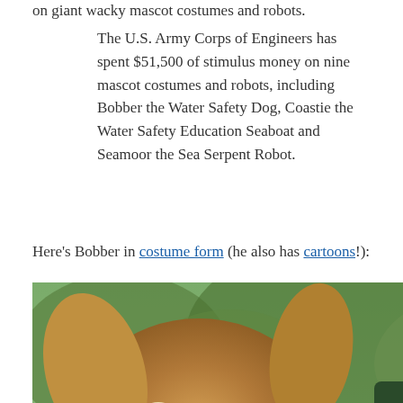on giant wacky mascot costumes and robots.
The U.S. Army Corps of Engineers has spent $51,500 of stimulus money on nine mascot costumes and robots, including Bobber the Water Safety Dog, Coastie the Water Safety Education Seaboat and Seamoor the Sea Serpent Robot.
Here's Bobber in costume form (he also has cartoons!):
[Figure (photo): Photo of Bobber the Water Safety Dog mascot costume (large dog in orange life vest) interacting with children while a ranger in green uniform and hat looks on, outdoors with trees in background.]